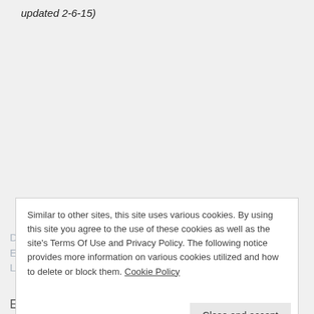updated 2-6-15)
Similar to other sites, this site uses various cookies. By using this site you agree to the use of these cookies as well as the site's Terms Of Use and Privacy Policy. The following notice provides more information on various cookies utilized and how to delete or block them. Cookie Policy
Close and accept
Data Source: FRED, Federal Reserve Economic Data, Federal Reserve Bank of St. Louis: Average Hourly Earnings of All Employees:  Total Private [CES0500000003] ;